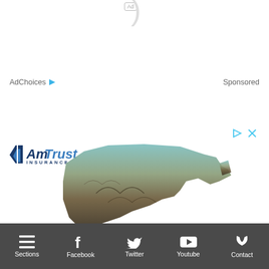AdChoices ▶
Sponsored
[Figure (logo): AmTrust Insurance logo with blue shield/triangle icon, bold italic 'AmTrust' in navy and blue, 'INSURANCE' in small caps below]
[Figure (illustration): Silhouette map of Virginia state with textured landscape imagery (mountains, farmland) in muted earth tones and teal]
Your Partner in Virginia
Sections | Facebook | Twitter | Youtube | Contact